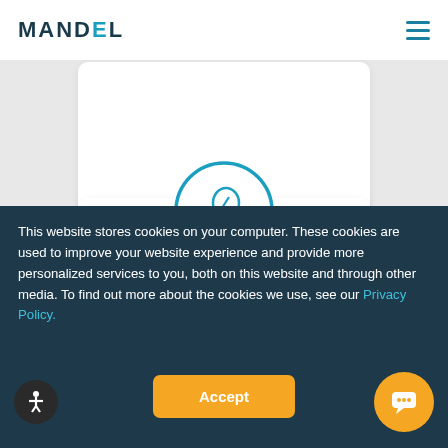[Figure (logo): MANDEL logo in dark blue with teal accent on E, top left of white header bar]
[Figure (other): Hamburger menu icon (three horizontal teal lines) in top right of header]
[Figure (illustration): White card with circular teal icon showing a human head profile with lightning bolt inside, representing the LISTEN service section]
LISTEN
This website stores cookies on your computer. These cookies are used to improve your website experience and provide more personalized services to you, both on this website and through other media. To find out more about the cookies we use, see our Privacy Policy.
[Figure (other): Accept button (orange rounded rectangle) for cookie consent]
[Figure (other): Accessibility button (dark circle with person icon) bottom left]
[Figure (other): Chat button (orange circle with chat bubble icon) bottom right]